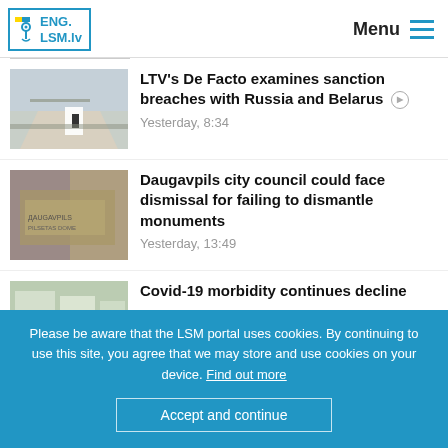ENG.LSM.lv  Menu
[Figure (screenshot): News article thumbnail: road with yellow field, building with black door]
LTV's De Facto examines sanction breaches with Russia and Belarus
Yesterday, 8:34
[Figure (screenshot): News article thumbnail: metal plaque on building exterior]
Daugavpils city council could face dismissal for failing to dismantle monuments
Yesterday, 13:49
[Figure (screenshot): News article thumbnail: buildings exterior]
Covid-19 morbidity continues decline
Please be aware that the LSM portal uses cookies. By continuing to use this site, you agree that we may store and use cookies on your device. Find out more
Accept and continue